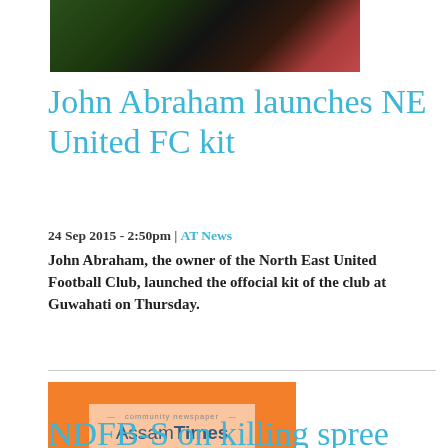[Figure (photo): Dark photo showing people at an event, partially cropped at top]
John Abraham launches NE United FC kit
24 Sep 2015 - 2:50pm | AT News
John Abraham, the owner of the North East United Football Club, launched the offocial kit of the club at Guwahati on Thursday.
[Figure (logo): Assam Times logo on orange background — community newspaper AssamTimes]
NDFB-S on killing spree